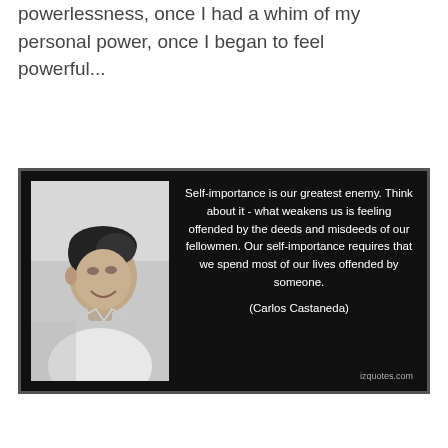powerlessness, once I had a whim of my personal power, once I began to feel powerful...
[Figure (photo): Black and white quote card with a photo of Carlos Castaneda on the left and a quote on a dark background on the right. Quote: 'Self-importance is our greatest enemy. Think about it - what weakens us is feeling offended by the deeds and misdeeds of our fellowmen. Our self-importance requires that we spend most of our lives offended by someone.' Attribution: (Carlos Castaneda). Source: izquotes.com]